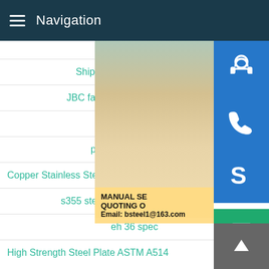Navigation
Shipbuilding Plate Plate ma
JBC factory price api 5l x 52 car
grade 517 pipe
properties of en 52 s
Copper Stainless Steel Explosion Bon
s355 steel st52 physical properties
eh 36 spec
High Strength Steel Plate ASTM A514
[Figure (photo): Woman with headset, customer service representative photo with overlaid contact info: MANUAL SE, QUOTING O, Email: bsteel1@163.com. Side icons for customer service, phone, Skype. Green chat button and scroll-up button.]